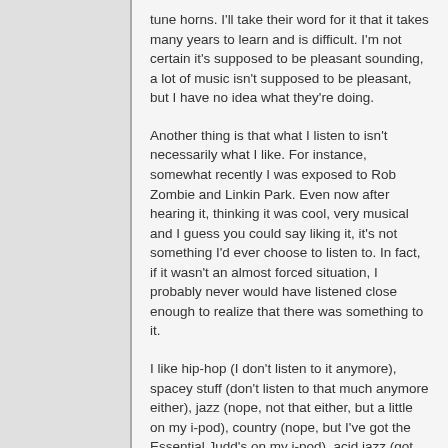tune horns. I'll take their word for it that it takes many years to learn and is difficult. I'm not certain it's supposed to be pleasant sounding, a lot of music isn't supposed to be pleasant, but I have no idea what they're doing.
Another thing is that what I listen to isn't necessarily what I like. For instance, somewhat recently I was exposed to Rob Zombie and Linkin Park. Even now after hearing it, thinking it was cool, very musical and I guess you could say liking it, it's not something I'd ever choose to listen to. In fact, if it wasn't an almost forced situation, I probably never would have listened close enough to realize that there was something to it.
I like hip-hop (I don't listen to it anymore), spacey stuff (don't listen to that much anymore either), jazz (nope, not that either, but a little on my i-pod), country (nope, but I've got the Essential Judd's on my i-pod), acid jazz (got some on my i-pod), jump blues, old R&B, beach/shagging music (lots of that on my i-pod). Names I'll toss out that I feel kind of makes up my life's soundtrack (in chronological order) are: